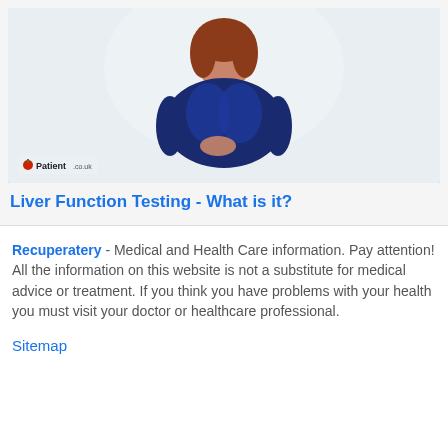[Figure (screenshot): Video thumbnail from Patient.co.uk showing a woman with auburn hair wearing a blue and black top, standing against a light background. The Patient.co.uk logo is visible in the lower left of the video frame.]
Liver Function Testing - What is it?
Recuperatery - Medical and Health Care information. Pay attention! All the information on this website is not a substitute for medical advice or treatment. If you think you have problems with your health you must visit your doctor or healthcare professional.
Sitemap